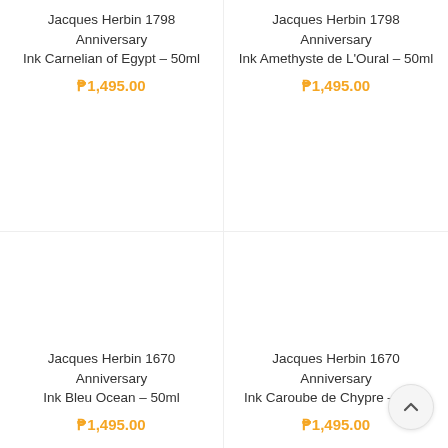Jacques Herbin 1798 Anniversary Ink Carnelian of Egypt – 50ml
₱1,495.00
Jacques Herbin 1798 Anniversary Ink Amethyste de L'Oural – 50ml
₱1,495.00
Jacques Herbin 1670 Anniversary Ink Bleu Ocean – 50ml
₱1,495.00
Jacques Herbin 1670 Anniversary Ink Caroube de Chypre – 50ml
₱1,495.00